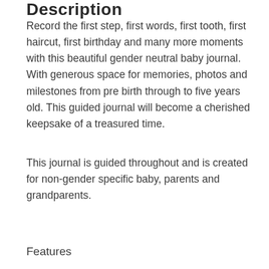Description
Record the first step, first words, first tooth, first haircut, first birthday and many more moments with this beautiful gender neutral baby journal. With generous space for memories, photos and milestones from pre birth through to five years old. This guided journal will become a cherished keepsake of a treasured time.
This journal is guided throughout and is created for non-gender specific baby, parents and grandparents.
Features